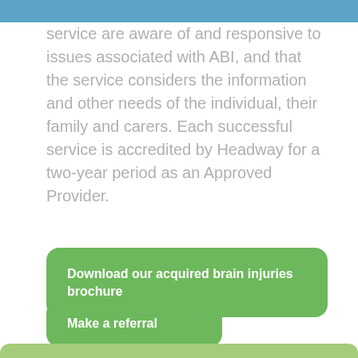service are aware of and responsive to issues associated with ABI, and that the service considers the information and other needs of the individual, their family and carers. Each successful service is accredited by Headway for a two-year period as an Approved Provider.
Download our acquired brain injuries brochure
Make a referral